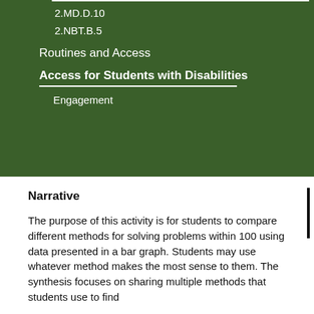2.MD.D.10
2.NBT.B.5
Routines and Access
Access for Students with Disabilities
Engagement
Narrative
The purpose of this activity is for students to compare different methods for solving problems within 100 using data presented in a bar graph. Students may use whatever method makes the most sense to them. The synthesis focuses on sharing multiple methods that students use to find